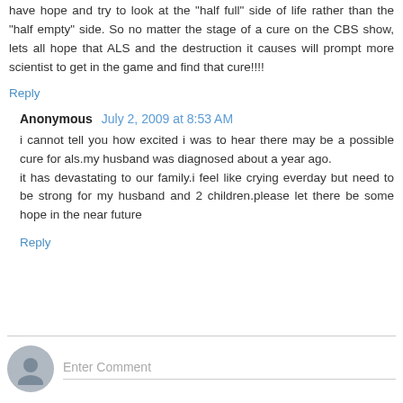have hope and try to look at the "half full" side of life rather than the "half empty" side. So no matter the stage of a cure on the CBS show, lets all hope that ALS and the destruction it causes will prompt more scientist to get in the game and find that cure!!!!
Reply
Anonymous  July 2, 2009 at 8:53 AM
i cannot tell you how excited i was to hear there may be a possible cure for als.my husband was diagnosed about a year ago.
it has devastating to our family.i feel like crying everday but need to be strong for my husband and 2 children.please let there be some hope in the near future
Reply
Enter Comment